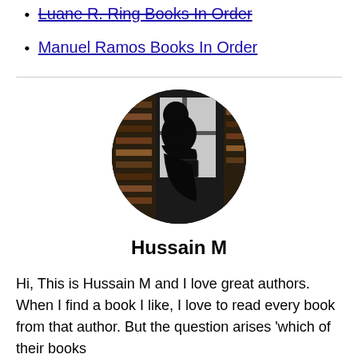Luane R. Ring Books In Order
Manuel Ramos Books In Order
[Figure (photo): Circular cropped black and white silhouette photo of a person reading a book in front of a window with bookshelves visible in the background]
Hussain M
Hi, This is Hussain M and I love great authors. When I find a book I like, I love to read every book from that author. But the question arises 'which of their books